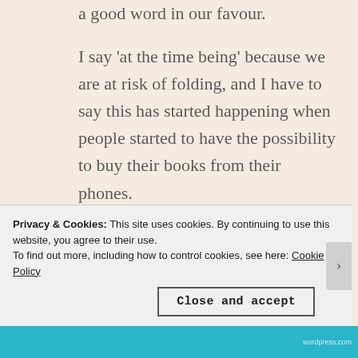a good word in our favour. I say 'at the time being' because we are at risk of folding, and I have to say this has started happening when people started to have the possibility to buy their books from their phones. We can't hide the fact that online bookstores eat at a bookstores possibility to survive and this is because customers don't give us a chance. We can't afford the same discount Amazon
Privacy & Cookies: This site uses cookies. By continuing to use this website, you agree to their use. To find out more, including how to control cookies, see here: Cookie Policy
Close and accept